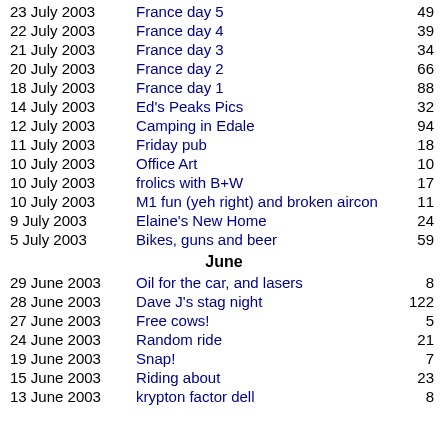| Date | Title | Count |
| --- | --- | --- |
| 23 July 2003 | France day 5 | 49 |
| 22 July 2003 | France day 4 | 39 |
| 21 July 2003 | France day 3 | 34 |
| 20 July 2003 | France day 2 | 66 |
| 18 July 2003 | France day 1 | 88 |
| 14 July 2003 | Ed's Peaks Pics | 32 |
| 12 July 2003 | Camping in Edale | 94 |
| 11 July 2003 | Friday pub | 18 |
| 10 July 2003 | Office Art | 10 |
| 10 July 2003 | frolics with B+W | 17 |
| 10 July 2003 | M1 fun (yeh right) and broken aircon | 11 |
| 9 July 2003 | Elaine's New Home | 24 |
| 5 July 2003 | Bikes, guns and beer | 59 |
|  | June |  |
| 29 June 2003 | Oil for the car, and lasers | 8 |
| 28 June 2003 | Dave J's stag night | 122 |
| 27 June 2003 | Free cows! | 5 |
| 24 June 2003 | Random ride | 21 |
| 19 June 2003 | Snap! | 7 |
| 15 June 2003 | Riding about | 23 |
| 13 June 2003 | krypton factor dell | 8 |